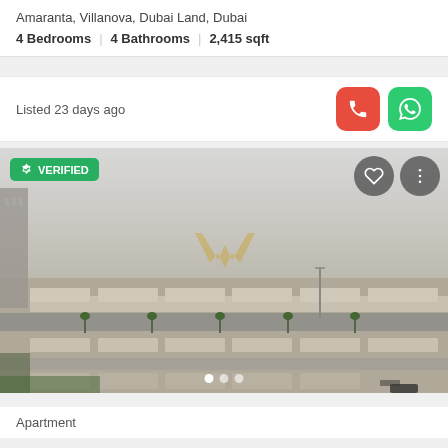Amaranta, Villanova, Dubai Land, Dubai
4 Bedrooms | 4 Bathrooms | 2,415 sqft
Listed 23 days ago
[Figure (photo): Aerial/elevated view of Villanova townhouse community in Dubai Land showing rows of villas, palm-lined streets, and a hazy sky with a landmark sculpture in background. Has VERIFIED badge, heart and menu icon buttons, and 3 carousel dots at bottom.]
Apartment